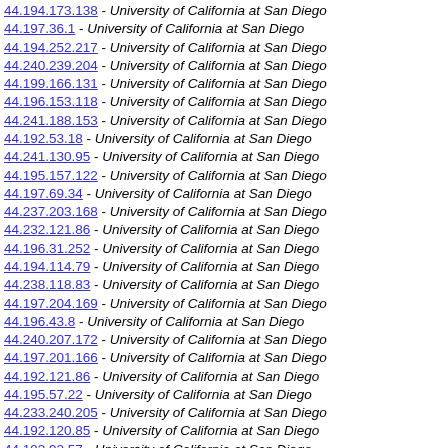44.194.173.138 - University of California at San Diego
44.197.36.1 - University of California at San Diego
44.194.252.217 - University of California at San Diego
44.240.239.204 - University of California at San Diego
44.199.166.131 - University of California at San Diego
44.196.153.118 - University of California at San Diego
44.241.188.153 - University of California at San Diego
44.192.53.18 - University of California at San Diego
44.241.130.95 - University of California at San Diego
44.195.157.122 - University of California at San Diego
44.197.69.34 - University of California at San Diego
44.237.203.168 - University of California at San Diego
44.232.121.86 - University of California at San Diego
44.196.31.252 - University of California at San Diego
44.194.114.79 - University of California at San Diego
44.238.118.83 - University of California at San Diego
44.197.204.169 - University of California at San Diego
44.196.43.8 - University of California at San Diego
44.240.207.172 - University of California at San Diego
44.197.201.166 - University of California at San Diego
44.192.121.86 - University of California at San Diego
44.195.57.22 - University of California at San Diego
44.233.240.205 - University of California at San Diego
44.192.120.85 - University of California at San Diego
44.193.92.57 - University of California at San Diego
44.196.90.55 - University of California at San Diego
44.198.43.8 - University of California at San Diego
44.192.110.75 - University of California at San Diego
44.196.85.50 - University of California at San Diego
44.195.102.67 - University of California at San Diego